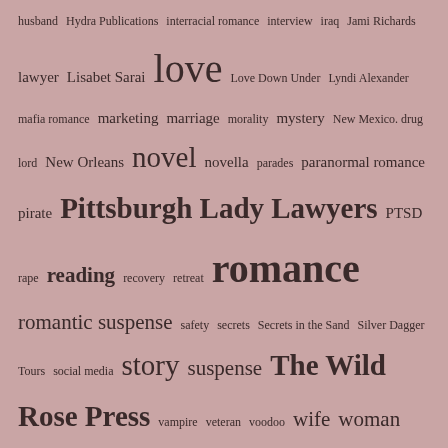husband Hydra Publications interracial romance interview iraq Jami Richards lawyer Lisabet Sarai love Love Down Under Lyndi Alexander mafia romance marketing marriage morality mystery New Mexico. drug lord New Orleans novel novella parades paranormal romance pirate Pittsburgh Lady Lawyers PTSD rape reading recovery retreat romance romantic suspense safety secrets Secrets in the Sand Silver Dagger Tours social media story suspense The Wild Rose Press vampire veteran voodoo wife woman women writer writing writing advice
ARCHIVES
July 2022
June 2022
May 2022